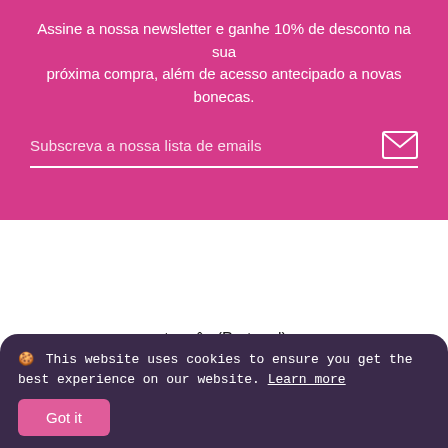Assine a nossa newsletter e ganhe 10% de desconto na sua próxima compra, além de acesso antecipado a novas bonecas.
Subscreva a nossa lista de emails
português (Portugal) ∨
Sobre nós   Remessa   Politica de reembolso
🍪 This website uses cookies to ensure you get the best experience on our website. Learn more
Got it